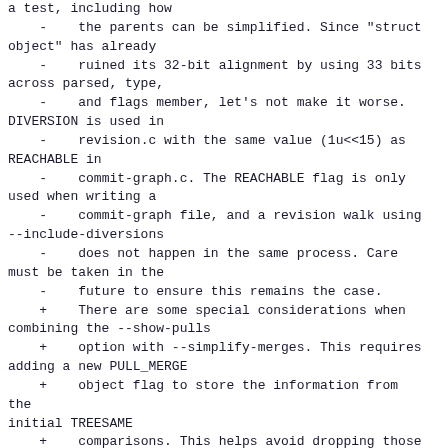a test, including how
    -    the parents can be simplified. Since "struct object" has already
    -    ruined its 32-bit alignment by using 33 bits across parsed, type,
    -    and flags member, let's not make it worse. DIVERSION is used in
    -    revision.c with the same value (1u<<15) as REACHABLE in
    -    commit-graph.c. The REACHABLE flag is only used when writing a
    -    commit-graph file, and a revision walk using --include-diversions
    -    does not happen in the same process. Care must be taken in the
    -    future to ensure this remains the case.
    +    There are some special considerations when combining the --show-pulls
    +    option with --simplify-merges. This requires adding a new PULL_MERGE
    +    object flag to store the information from the initial TREESAME
    +    comparisons. This helps avoid dropping those commits in later filters.
    +    This is covered by a test, including how the parents can be simplified.
    +    Since "struct object" has already ruined its 32-bit alignment by using
    +    33 bits across parsed, type, and flags member, let's not make it worse.
    +    PULL_MERGE is used in revision.c with the